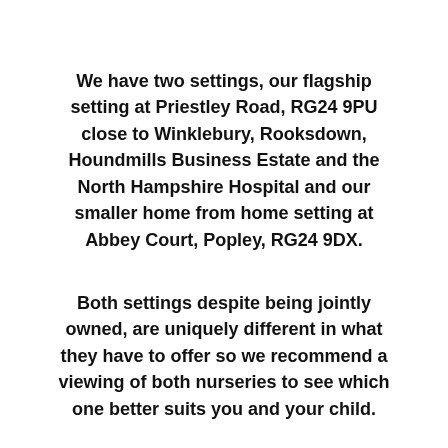We have two settings, our flagship setting at Priestley Road, RG24 9PU close to Winklebury, Rooksdown, Houndmills Business Estate and the North Hampshire Hospital and our smaller home from home setting at Abbey Court, Popley, RG24 9DX.
Both settings despite being jointly owned, are uniquely different in what they have to offer so we recommend a viewing of both nurseries to see which one better suits you and your child.